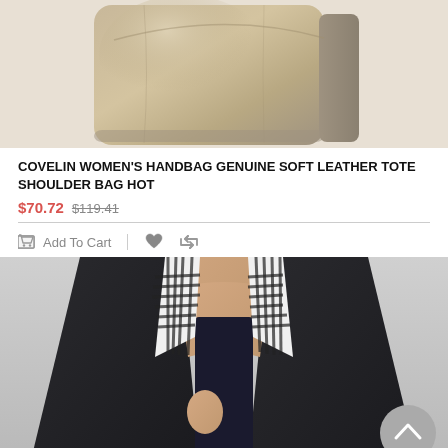[Figure (photo): A metallic gold/bronze leather tote handbag shown from the front, cropped at top of page]
COVELIN WOMEN'S HANDBAG GENUINE SOFT LEATHER TOTE SHOULDER BAG HOT
$70.72 $119.41
Add To Cart
[Figure (photo): A person wearing a dark jacket with black and white plaid/checkered lapels, cropped to show torso and neck area only]